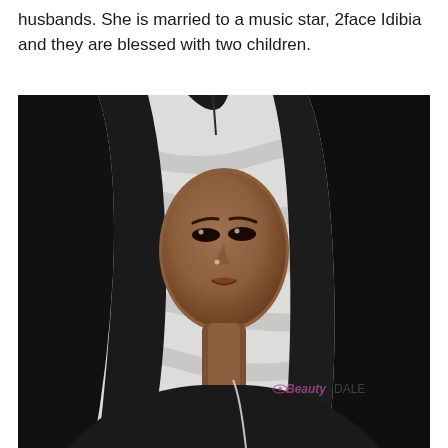husbands. She is married to a music star, 2face Idibia and they are blessed with two children.
[Figure (photo): Portrait photo of a young woman with long straight black hair, brown skin, wearing a dark top. She has a nose piercing and is looking slightly to the side. Background is a white textured wave pattern. A watermark reads 'Beauty DALE' in the bottom right.]